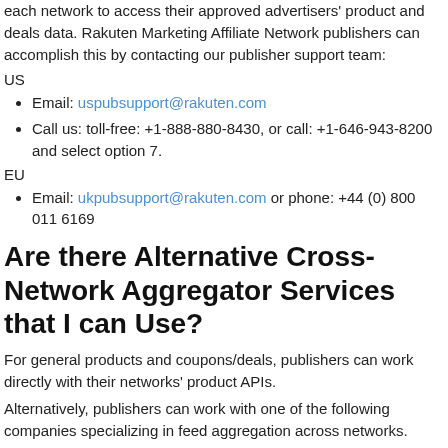each network to access their approved advertisers' product and deals data. Rakuten Marketing Affiliate Network publishers can accomplish this by contacting our publisher support team:
US
Email: uspubsupport@rakuten.com
Call us: toll-free: +1-888-880-8430, or call: +1-646-943-8200 and select option 7.
EU
Email: ukpubsupport@rakuten.com or phone: +44 (0) 800 011 6169
Are there Alternative Cross-Network Aggregator Services that I can Use?
For general products and coupons/deals, publishers can work directly with their networks' product APIs.
Alternatively, publishers can work with one of the following companies specializing in feed aggregation across networks.
ShopStyle Collective: a network of elite publishers and influencers that give publishers the tools, data, opportunities and